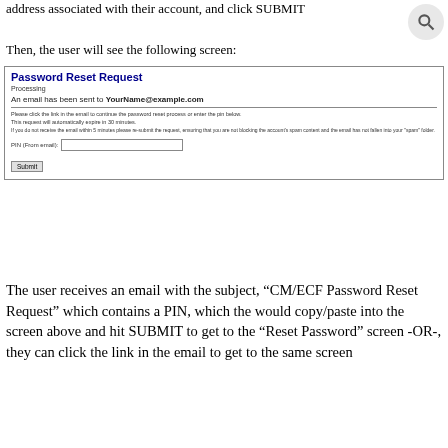address associated with their account, and click SUBMIT
Then, the user will see the following screen:
[Figure (screenshot): Password Reset Request screen showing processing message, email confirmation to YourName@example.com, instructions to click link or enter PIN, expiry notice, warning about checking spam folder, PIN entry field, and Submit button.]
The user receives an email with the subject, “CM/ECF Password Reset Request” which contains a PIN, which the would copy/paste into the screen above and hit SUBMIT to get to the “Reset Password” screen -OR-, they can click the link in the email to get to the same screen